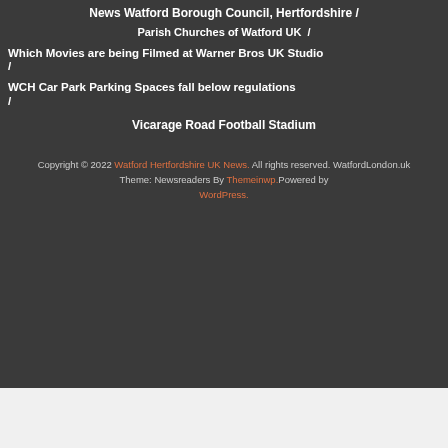News Watford Borough Council, Hertfordshire /
Parish Churches of Watford UK /
Which Movies are being Filmed at Warner Bros UK Studio
/
WCH Car Park Parking Spaces fall below regulations
/
Vicarage Road Football Stadium
Copyright © 2022 Watford Hertfordshire UK News. All rights reserved. WatfordLondon.uk Theme: Newsreaders By Themeinwp.Powered by WordPress.